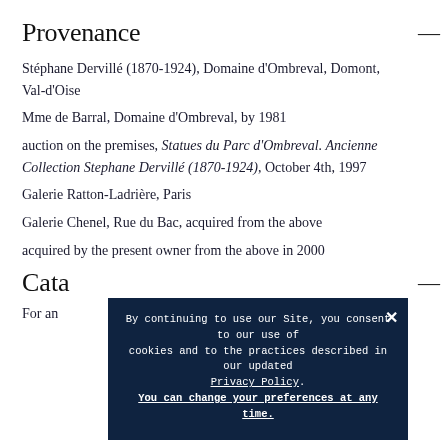Provenance
Stéphane Dervillé (1870-1924), Domaine d'Ombreval, Domont, Val-d'Oise
Mme de Barral, Domaine d'Ombreval, by 1981
auction on the premises, Statues du Parc d'Ombreval. Ancienne Collection Stephane Dervillé (1870-1924), October 4th, 1997
Galerie Ratton-Ladrière, Paris
Galerie Chenel, Rue du Bac, acquired from the above
acquired by the present owner from the above in 2000
Cata...
For an... eg see ...